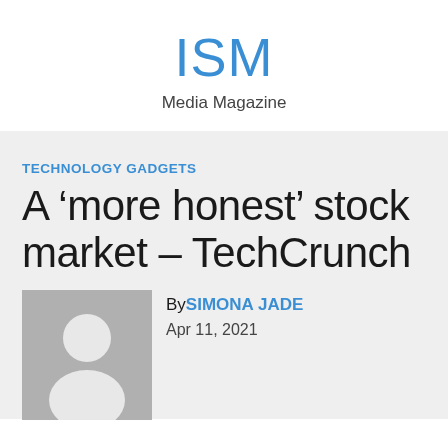ISM
Media Magazine
TECHNOLOGY GADGETS
A ‘more honest’ stock market – TechCrunch
[Figure (photo): Avatar placeholder image showing a grey background with a white silhouette of a person]
By SIMONA JADE
Apr 11, 2021